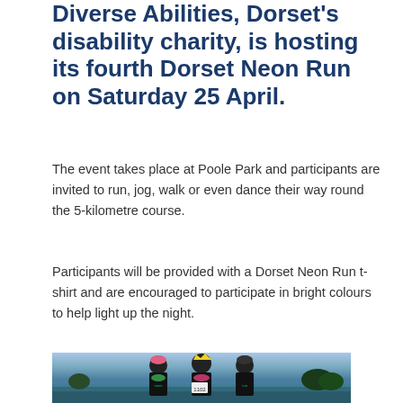Diverse Abilities, Dorset's disability charity, is hosting its fourth Dorset Neon Run on Saturday 25 April.
The event takes place at Poole Park and participants are invited to run, jog, walk or even dance their way round the 5-kilometre course.
Participants will be provided with a Dorset Neon Run t-shirt and are encouraged to participate in bright colours to help light up the night.
[Figure (photo): Three women smiling and posing together wearing black Neon Run t-shirts, colorful accessories including flower leis, a yellow crown, and bright hats. Photo taken at dusk near a body of water with trees visible in the background.]